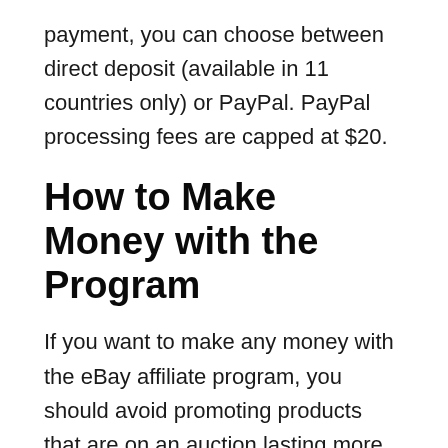payment, you can choose between direct deposit (available in 11 countries only) or PayPal. PayPal processing fees are capped at $20.
How to Make Money with the Program
If you want to make any money with the eBay affiliate program, you should avoid promoting products that are on an auction lasting more than 24 hours. If the auction takes longer, people will wait to bid until